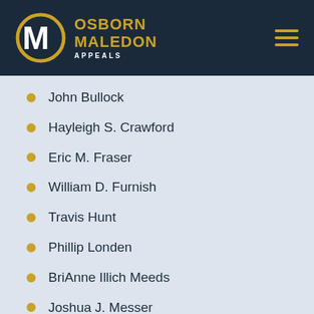OSBORN MALEDON APPEALS
John Bullock
Hayleigh S. Crawford
Eric M. Fraser
William D. Furnish
Travis Hunt
Phillip Londen
BriAnne Illich Meeds
Joshua J. Messer
Heather Robles
Joseph N. Roth